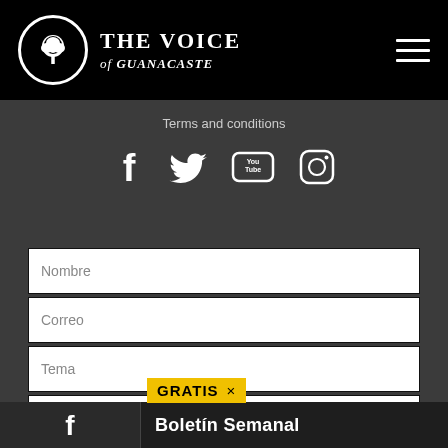THE VOICE of GUANACASTE
Terms and conditions
[Figure (other): Social media icons: Facebook, Twitter, YouTube, Instagram]
Nombre
Correo
Tema
Mensaje
GRATIS × Boletín Semanal